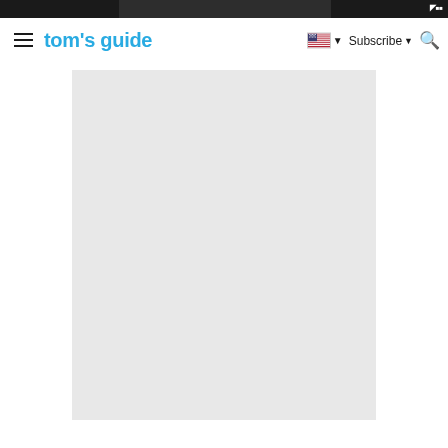tom's guide — Subscribe
[Figure (screenshot): Tom's Guide website navigation bar with hamburger menu, logo in blue text, US flag language selector, Subscribe button, and search icon. Below the nav bar is a large light gray image placeholder rectangle.]